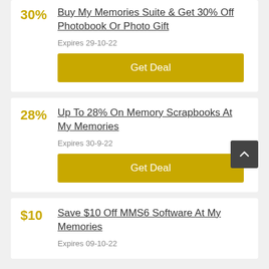Buy My Memories Suite & Get 30% Off Photobook Or Photo Gift
Expires 29-10-22
Get Deal
Up To 28% On Memory Scrapbooks At My Memories
Expires 30-9-22
Get Deal
Save $10 Off MMS6 Software At My Memories
Expires 09-10-22